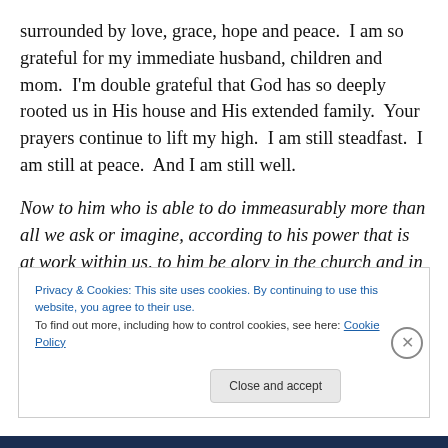surrounded by love, grace, hope and peace.  I am so grateful for my immediate husband, children and mom.  I'm double grateful that God has so deeply rooted us in His house and His extended family.  Your prayers continue to lift my high.  I am still steadfast.  I am still at peace.  And I am still well.
Now to him who is able to do immeasurably more than all we ask or imagine, according to his power that is at work within us, to him be glory in the church and in Christ Jesus throughout all generations, for ever and ever! Amen.
Privacy & Cookies: This site uses cookies. By continuing to use this website, you agree to their use.
To find out more, including how to control cookies, see here: Cookie Policy